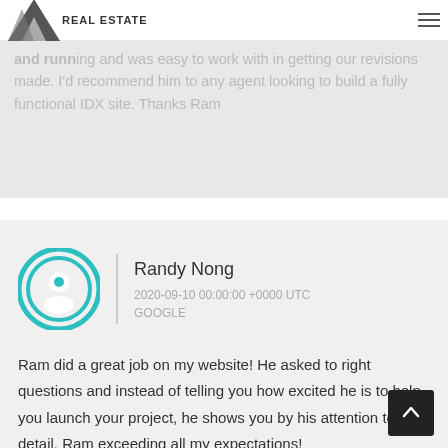REAL ESTATE
and running and was easy to work with in getting our revisions made. I'd recommend him to any agent looking to build a fully functional IDX site. Thanks Ram
Randy Nong
2020-09-10 00:00:00 +0000 UTC
GOOGLE
Ram did a great job on my website! He asked to right questions and instead of telling you how excited he is to help you launch your project, he shows you by his attention to detail. Ram exceeding all my expectations!